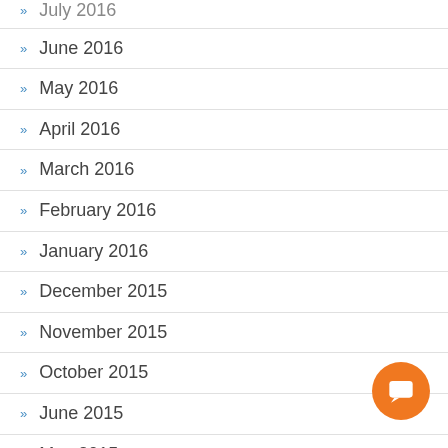July 2016
June 2016
May 2016
April 2016
March 2016
February 2016
January 2016
December 2015
November 2015
October 2015
June 2015
May 2015
March 2015
February 2015